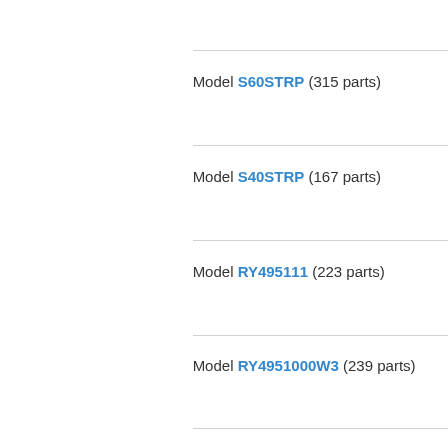Model S60STRP (315 parts)
Model S40STRP (167 parts)
Model RY495111 (223 parts)
Model RY4951000W3 (239 parts)
Model RY4951000W2 (230 parts)